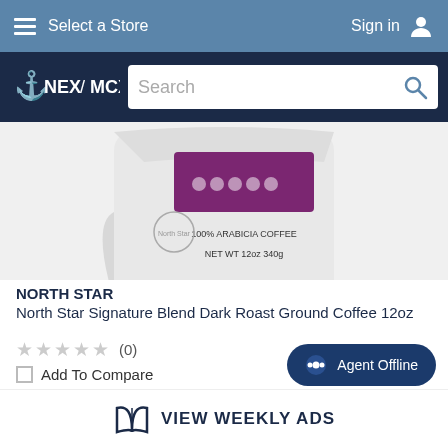Select a Store | Sign in
[Figure (logo): NEX / MCX logo with anchor icon on dark navy background, plus search bar]
[Figure (photo): White bag of North Star Signature Blend Dark Roast Ground Coffee 12oz with purple label showing 100% Arabicia Coffee and NET WT 12oz 340g]
NORTH STAR
North Star Signature Blend Dark Roast Ground Coffee 12oz
★★★★★ (0)
Add To Compare
Agent Offline
VIEW WEEKLY ADS